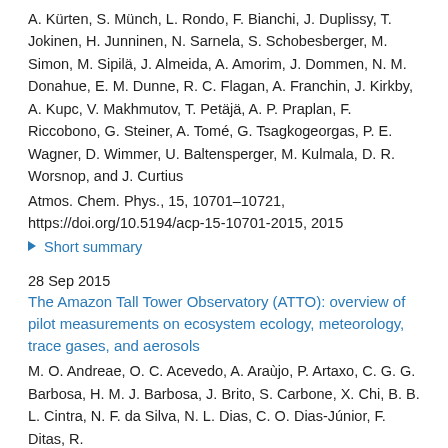A. Kürten, S. Münch, L. Rondo, F. Bianchi, J. Duplissy, T. Jokinen, H. Junninen, N. Sarnela, S. Schobesberger, M. Simon, M. Sipilä, J. Almeida, A. Amorim, J. Dommen, N. M. Donahue, E. M. Dunne, R. C. Flagan, A. Franchin, J. Kirkby, A. Kupc, V. Makhmutov, T. Petäjä, A. P. Praplan, F. Riccobono, G. Steiner, A. Tomé, G. Tsagkogeorgas, P. E. Wagner, D. Wimmer, U. Baltensperger, M. Kulmala, D. R. Worsnop, and J. Curtius
Atmos. Chem. Phys., 15, 10701–10721, https://doi.org/10.5194/acp-15-10701-2015, 2015
▶ Short summary
28 Sep 2015
The Amazon Tall Tower Observatory (ATTO): overview of pilot measurements on ecosystem ecology, meteorology, trace gases, and aerosols
M. O. Andreae, O. C. Acevedo, A. Araùjo, P. Artaxo, C. G. G. Barbosa, H. M. J. Barbosa, J. Brito, S. Carbone, X. Chi, B. B. L. Cintra, N. F. da Silva, N. L. Dias, C. O. Dias-Júnior, F. Ditas, R.